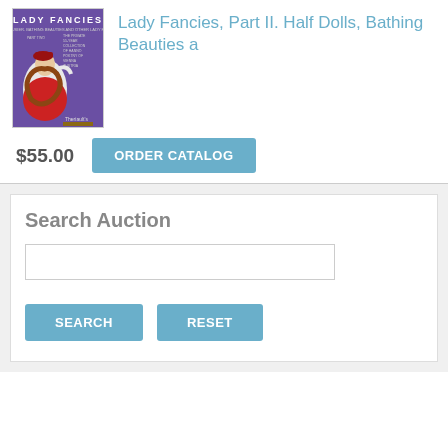[Figure (photo): Book cover of Lady Fancies Part II catalog by Theriault's, showing a porcelain half-doll figurine in red costume against purple background]
Lady Fancies, Part II. Half Dolls, Bathing Beauties a
$55.00
ORDER CATALOG
Search Auction
SEARCH
RESET